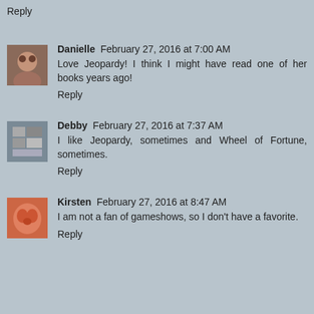Reply
Danielle  February 27, 2016 at 7:00 AM
Love Jeopardy! I think I might have read one of her books years ago!
Reply
Debby  February 27, 2016 at 7:37 AM
I like Jeopardy, sometimes and Wheel of Fortune, sometimes.
Reply
Kirsten  February 27, 2016 at 8:47 AM
I am not a fan of gameshows, so I don't have a favorite.
Reply